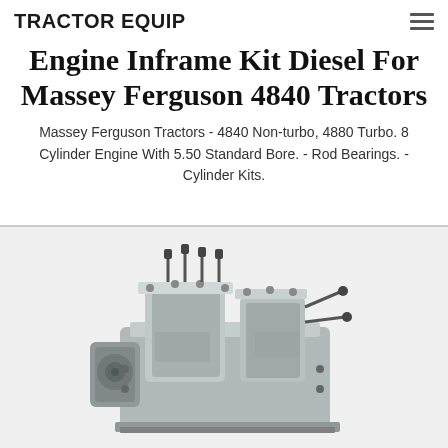TRACTOR EQUIP
Engine Inframe Kit Diesel For Massey Ferguson 4840 Tractors
Massey Ferguson Tractors - 4840 Non-turbo, 4880 Turbo. 8 Cylinder Engine With 5.50 Standard Bore. - Rod Bearings. - Cylinder Kits.
[Figure (photo): Photo of a diesel engine injection pump component for Massey Ferguson tractors, silver/grey colored mechanical assembly on a light background]